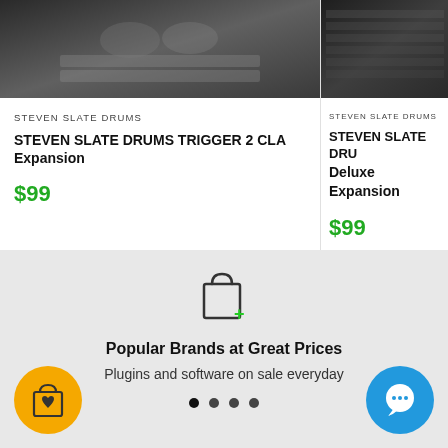[Figure (photo): Drum trigger product image - dark background with drum equipment]
STEVEN SLATE DRUMS
STEVEN SLATE DRUMS TRIGGER 2 CLA Expansion
$99
[Figure (photo): Steven Slate Drums product image - dark background]
STEVEN SLATE DRUMS
STEVEN SLATE DRUMS Deluxe Expansion
$99
[Figure (illustration): Shopping bag with plus icon]
Popular Brands at Great Prices
Plugins and software on sale everyday
[Figure (illustration): Yellow circle with shopping bag heart icon]
[Figure (illustration): Blue circle with chat/message icon]